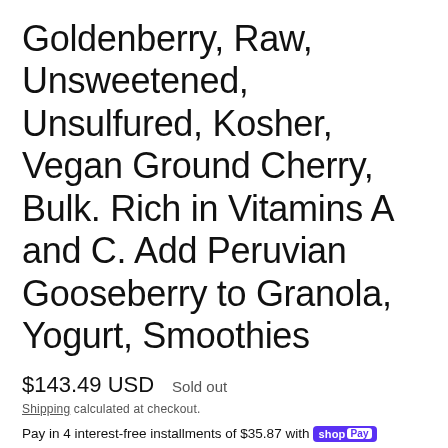Goldenberry, Raw, Unsweetened, Unsulfured, Kosher, Vegan Ground Cherry, Bulk. Rich in Vitamins A and C. Add Peruvian Gooseberry to Granola, Yogurt, Smoothies
$143.49 USD   Sold out
Shipping calculated at checkout.
Pay in 4 interest-free installments of $35.87 with shop Pay   Learn more
Weight
16 lbs
8 lbs
4 lbs
2 lbs
1 lb
8 oz